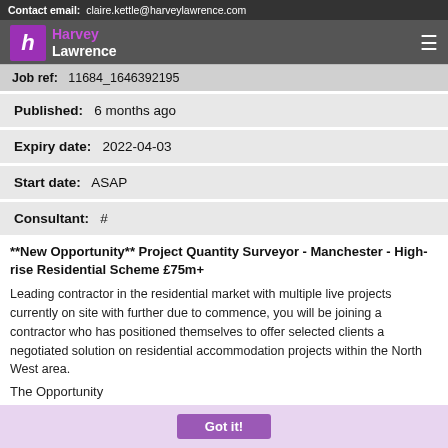Contact email:  claire.kettle@harveylawrence.com
[Figure (logo): Harvey Lawrence recruitment agency logo with purple h icon and white text, plus hamburger menu icon]
Job ref:   11684_1646392195
Published:   6 months ago
Expiry date:   2022-04-03
Start date:   ASAP
Consultant:   #
**New Opportunity** Project Quantity Surveyor - Manchester - High-rise Residential Scheme £75m+
Leading contractor in the residential market with multiple live projects currently on site with further due to commence, you will be joining a contractor who has positioned themselves to offer selected clients a negotiated solution on residential accommodation projects within the North West area.
The Opportunity